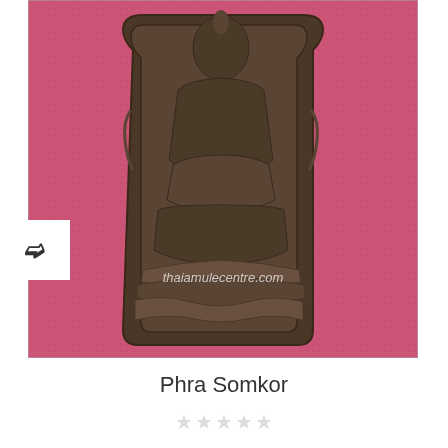[Figure (photo): Close-up photograph of a Thai Buddhist amulet called Phra Somkor. The amulet shows a seated meditating Buddha figure in relief on a dark clay/ceramic tablet with rounded top corners. The background behind the amulet is bright pink/magenta fabric. A watermark reading 'thaiamulecentre.com' is visible across the lower portion of the amulet. A navigation arrow button (right-pointing chevron) is visible on the left side of the image.]
Phra Somkor
★★★★★